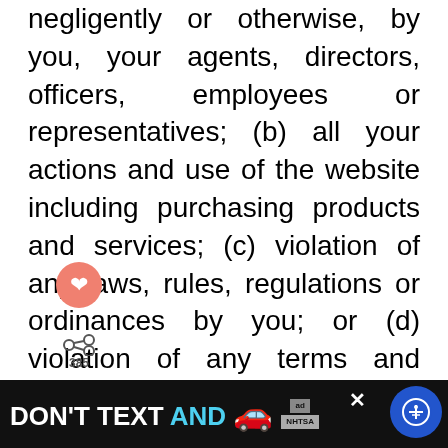negligently or otherwise, by you, your agents, directors, officers, employees or representatives; (b) all your actions and use of the website including purchasing products and services; (c) violation of any laws, rules, regulations or ordinances by you; or (d) violation of any terms and conditions of this website by you or anyone related to you; e) infringement by you or any other user of your account of any intellectual property or other rights of anyone. The Company will notify you promptly of any such claims or liability and reserves the right to defend such claim, liability or damage at your expense. You shall fully cooperate and provide assistance to us if requested, without any cost, to defend any such cl...
[Figure (infographic): Advertisement banner: 'DON'T TEXT AND [car emoji]' with NHTSA branding and close button, on black background]